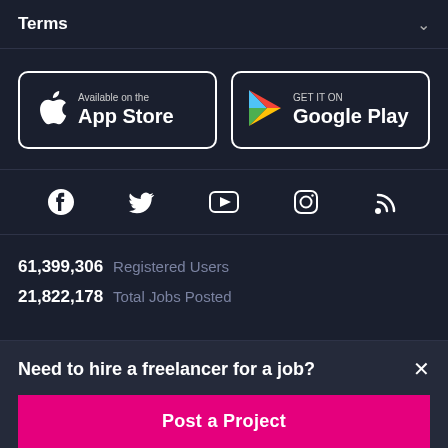Terms
[Figure (screenshot): App Store button — Available on the App Store with Apple logo]
[Figure (screenshot): Google Play button — GET IT ON Google Play with Google Play triangle logo]
[Figure (infographic): Social media icons row: Facebook, Twitter, YouTube, Instagram, RSS]
61,399,306  Registered Users
21,822,178  Total Jobs Posted
Need to hire a freelancer for a job?
Post a Project